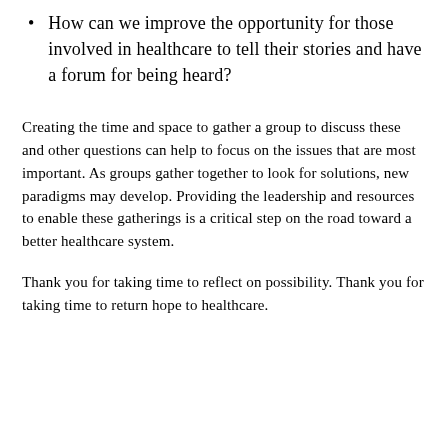How can we improve the opportunity for those involved in healthcare to tell their stories and have a forum for being heard?
Creating the time and space to gather a group to discuss these and other questions can help to focus on the issues that are most important. As groups gather together to look for solutions, new paradigms may develop. Providing the leadership and resources to enable these gatherings is a critical step on the road toward a better healthcare system.
Thank you for taking time to reflect on possibility. Thank you for taking time to return hope to healthcare.